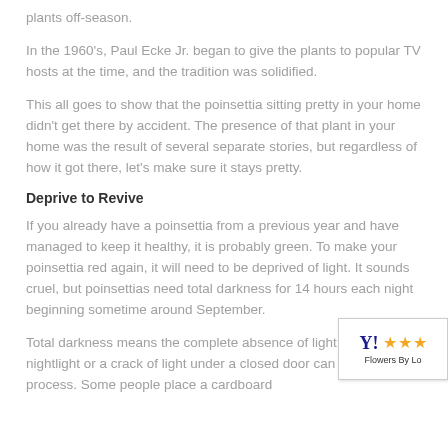plants off-season.
In the 1960's, Paul Ecke Jr. began to give the plants to popular TV hosts at the time, and the tradition was solidified.
This all goes to show that the poinsettia sitting pretty in your home didn't get there by accident. The presence of that plant in your home was the result of several separate stories, but regardless of how it got there, let's make sure it stays pretty.
Deprive to Revive
If you already have a poinsettia from a previous year and have managed to keep it healthy, it is probably green. To make your poinsettia red again, it will need to be deprived of light. It sounds cruel, but poinsettias need total darkness for 14 hours each night beginning sometime around September.
[Figure (logo): Flowers By Lo badge with blue Y! logo and three orange stars]
Total darkness means the complete absence of light. Even a nightlight or a crack of light under a closed door can disrupt the process. Some people place a cardboard